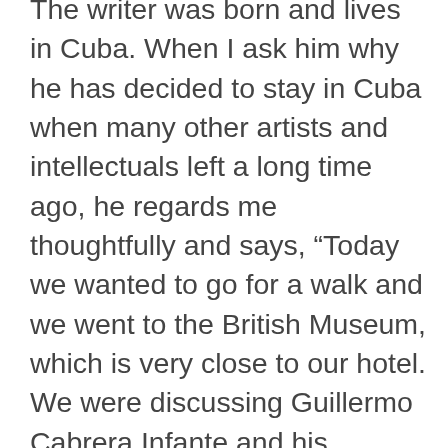The writer was born and lives in Cuba. When I ask him why he has decided to stay in Cuba when many other artists and intellectuals left a long time ago, he regards me thoughtfully and says, “Today we wanted to go for a walk and we went to the British Museum, which is very close to our hotel. We were discussing Guillermo Cabrera Infante and his feelings about Cuba. We decided that it is the small things, including climate and temperature, that are important. They are a part of you; you belong to a culture and that’s it. Here, for example, nobody cares about baseball; I’m a talkative person and here nobody talks to you at the bus stop. The Cuban world, my culture –